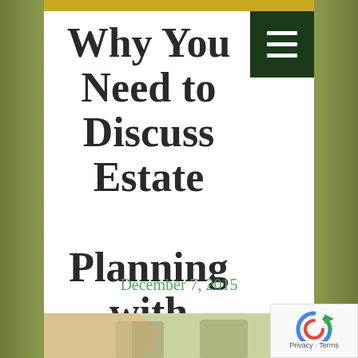Why You Need to Discuss Estate Planning with your Ex-Spouse
December 7, 2015
[Figure (photo): Partial view of a couple holding hands outdoors, green background]